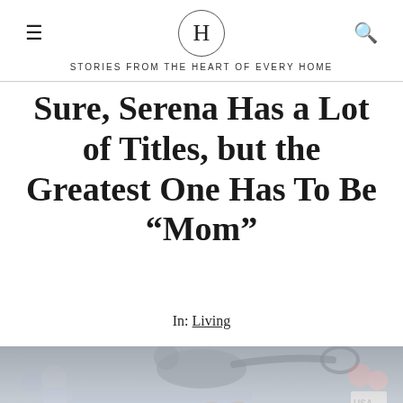H — STORIES FROM THE HEART OF EVERY HOME
Sure, Serena Has a Lot of Titles, but the Greatest One Has To Be “Mom”
In: Living
[Figure (photo): Serena Williams playing tennis at what appears to be the US Open, bending forward in action on a blue hard court. American Express advertising board visible in background. A second faded image of a player is visible at the bottom.]